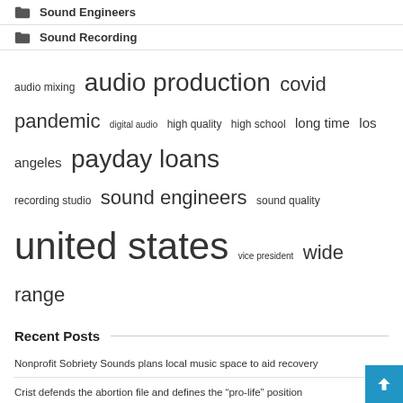Sound Engineers
Sound Recording
[Figure (infographic): Tag cloud with words sized by frequency: audio mixing (small), audio production (large), covid pandemic (large), digital audio (small), high quality (small), high school (small), long time (medium), los angeles (medium), payday loans (large), recording studio (small), sound engineers (large), sound quality (small), united states (extra-large), vice president (small), wide range (large)]
Recent Posts
Nonprofit Sobriety Sounds plans local music space to aid recovery
Crist defends the abortion file and defines the “pro-life” position
Dodge Charger Daytona SRT Concept Teases Upcoming Electric Muscle